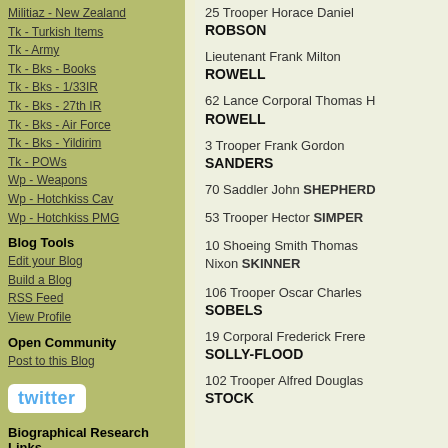Militiaz - New Zealand
Tk - Turkish Items
Tk - Army
Tk - Bks - Books
Tk - Bks - 1/33IR
Tk - Bks - 27th IR
Tk - Bks - Air Force
Tk - Bks - Yildirim
Tk - POWs
Wp - Weapons
Wp - Hotchkiss Cav
Wp - Hotchkiss PMG
Blog Tools
Edit your Blog
Build a Blog
RSS Feed
View Profile
Open Community
Post to this Blog
[Figure (logo): Twitter logo button]
Biographical Research Links
1. First World War Embarkation Roll - AWM
25 Trooper Horace Daniel ROBSON
Lieutenant Frank Milton ROWELL
62 Lance Corporal Thomas H ROWELL
3 Trooper Frank Gordon SANDERS
70 Saddler John SHEPHERD
53 Trooper Hector SIMPER
10 Shoeing Smith Thomas Nixon SKINNER
106 Trooper Oscar Charles SOBELS
19 Corporal Frederick Frere SOLLY-FLOOD
102 Trooper Alfred Douglas STOCK